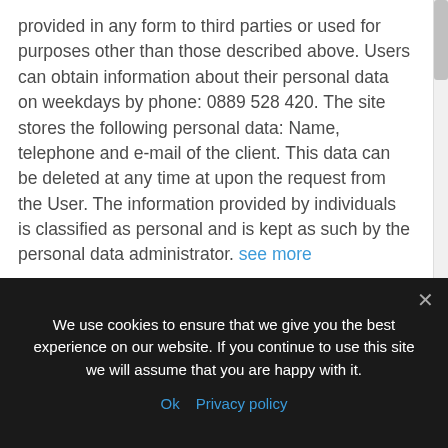provided in any form to third parties or used for purposes other than those described above. Users can obtain information about their personal data on weekdays by phone: 0889 528 420. The site stores the following personal data: Name, telephone and e-mail of the client. This data can be deleted at any time at upon the request from the User. The information provided by individuals is classified as personal and is kept as such by the personal data administrator. see more
Rules for using the Pool
We use cookies to ensure that we give you the best experience on our website. If you continue to use this site we will assume that you are happy with it. Ok  Privacy policy